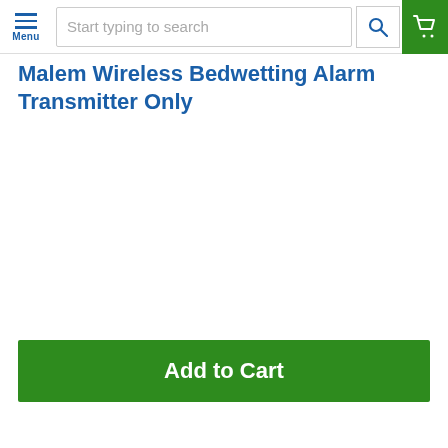Menu | Start typing to search
Malem Wireless Bedwetting Alarm Transmitter Only
Add to Cart